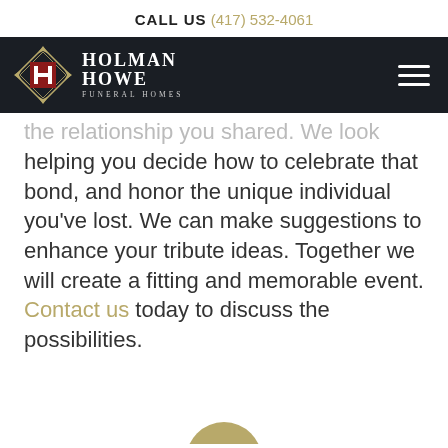CALL US (417) 532-4061
[Figure (logo): Holman Howe Funeral Homes logo with golden emblem and white text on dark navy navigation bar]
the relationship you shared. We look forward to helping you decide how to celebrate that bond, and honor the unique individual you've lost. We can make suggestions to enhance your tribute ideas. Together we will create a fitting and memorable event. Contact us today to discuss the possibilities.